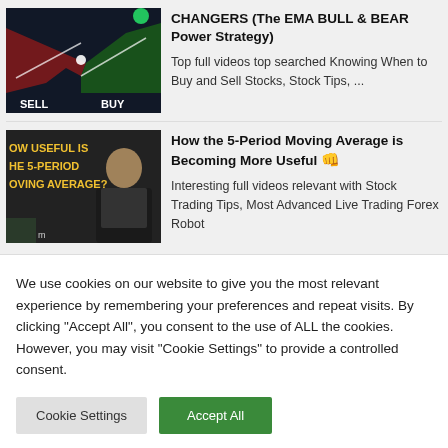[Figure (screenshot): Trading chart thumbnail showing SELL and BUY labels with candlestick/line chart on dark background with red and green areas]
CHANGERS (The EMA BULL & BEAR Power Strategy)
Top full videos top searched Knowing When to Buy and Sell Stocks, Stock Tips, ...
[Figure (screenshot): Video thumbnail showing text 'HOW USEFUL IS THE 5-PERIOD MOVING AVERAGE?' with a man in black shirt on right side]
How the 5-Period Moving Average is Becoming More Useful
Interesting full videos relevant with Stock Trading Tips, Most Advanced Live Trading Forex Robot
We use cookies on our website to give you the most relevant experience by remembering your preferences and repeat visits. By clicking "Accept All", you consent to the use of ALL the cookies. However, you may visit "Cookie Settings" to provide a controlled consent.